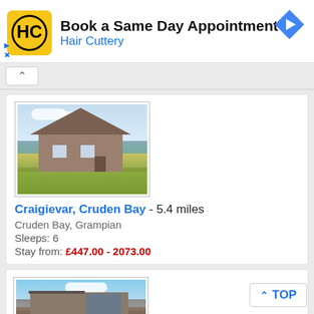[Figure (infographic): Hair Cuttery advertisement banner with yellow HC logo, text 'Book a Same Day Appointment' and 'Hair Cuttery', and a blue diamond navigation arrow icon]
Craigievar, Cruden Bay - 5.4 miles
Cruden Bay, Grampian
Sleeps: 6
Stay from: £447.00 - 2073.00
[Figure (photo): Photo of a modern bungalow house with brown exterior and green lawn, the property Craigievar in Cruden Bay]
[Figure (photo): Partial photo of a second property listing showing a stone cottage with solar panels]